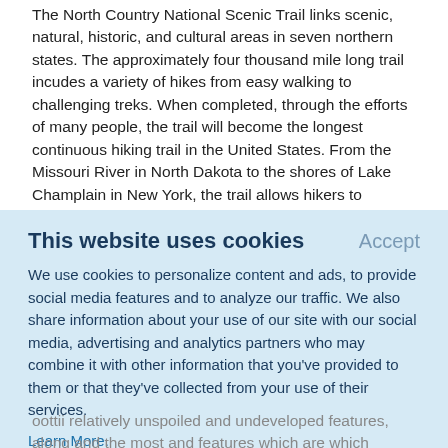The North Country National Scenic Trail links scenic, natural, historic, and cultural areas in seven northern states. The approximately four thousand mile long trail incudes a variety of hikes from easy walking to challenging treks. When completed, through the efforts of many people, the trail will become the longest continuous hiking trail in the United States. From the Missouri River in North Dakota to the shores of Lake Champlain in New York, the trail allows hikers to experience a variety of features, from clear-flowing streams, to thick Northern woods, from vast prairies to clean
This website uses cookies
Accept
We use cookies to personalize content and ads, to provide social media features and to analyze our traffic. We also share information about your use of our site with our social media, advertising and analytics partners who may combine it with other information that you've provided to them or that they've collected from your use of their services.
Learn More.
...relatively unspoiled and undeveloped features, along and the most and features which are which...